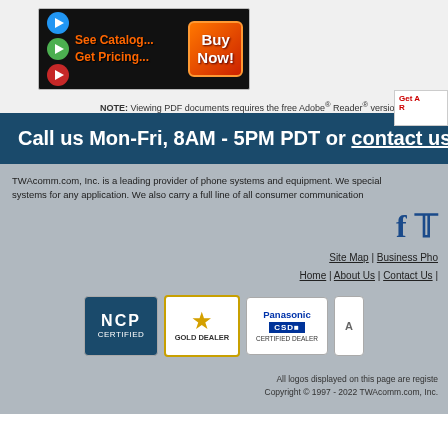[Figure (illustration): Banner with play buttons, 'See Catalog... Get Pricing...' text and 'Buy Now!' button]
NOTE: Viewing PDF documents requires the free Adobe® Reader® version 5.0 or greater. If y...
[Figure (logo): Get Adobe Reader partial logo box]
Call us Mon-Fri, 8AM - 5PM PDT or contact us h...
TWAcomm.com, Inc. is a leading provider of phone systems and equipment. We speciali... systems for any application. We also carry a full line of all consumer communication...
[Figure (logo): Social media icons: Facebook f and Twitter bird]
Site Map | Business Pho... Home | About Us | Contact Us |
[Figure (logo): NCP Certified badge]
[Figure (logo): Gold Dealer badge with star]
[Figure (logo): Panasonic CSD Certified Dealer badge]
[Figure (logo): Partially visible badge on far right]
All logos displayed on this page are registe... Copyright © 1997 - 2022 TWAcomm.com, Inc.